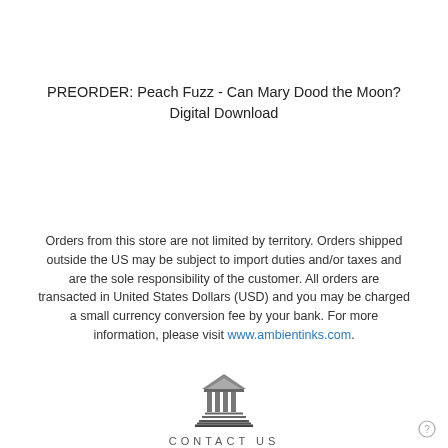PREORDER: Peach Fuzz - Can Mary Dood the Moon? Digital Download
Orders from this store are not limited by territory. Orders shipped outside the US may be subject to import duties and/or taxes and are the sole responsibility of the customer. All orders are transacted in United States Dollars (USD) and you may be charged a small currency conversion fee by your bank. For more information, please visit www.ambientinks.com.
[Figure (logo): Ambient Inks stylized building/monument logo icon in grayscale]
CONTACT US